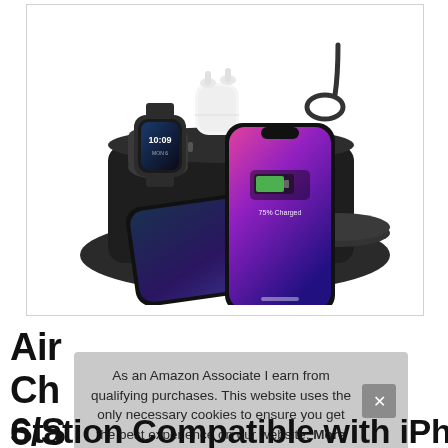[Figure (photo): Wireless charging station with Apple Watch, AirPods, and two iPhones on a black multi-device charging dock]
Air... Ch... 6/S...
As an Amazon Associate I earn from qualifying purchases. This website uses the only necessary cookies to ensure you get the best experience on our website. More information
Station Compatible with iPhone